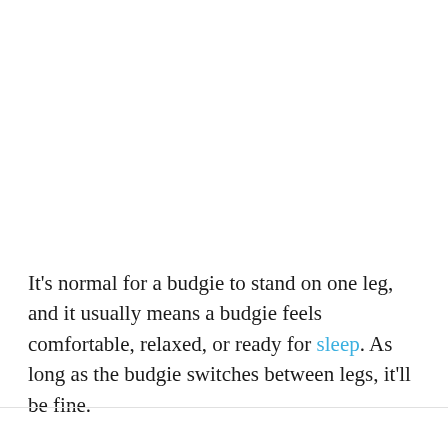It's normal for a budgie to stand on one leg, and it usually means a budgie feels comfortable, relaxed, or ready for sleep. As long as the budgie switches between legs, it'll be fine.